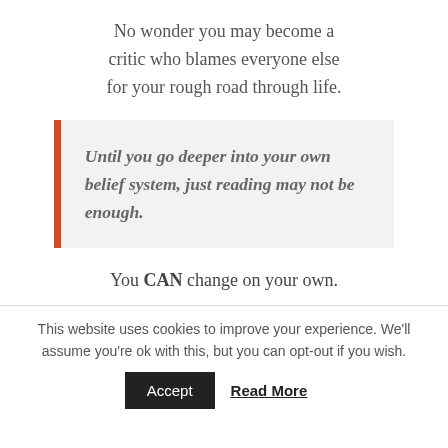No wonder you may become a critic who blames everyone else for your rough road through life.
Until you go deeper into your own belief system, just reading may not be enough.
You CAN change on your own.
This website uses cookies to improve your experience. We'll assume you're ok with this, but you can opt-out if you wish.
Accept  Read More